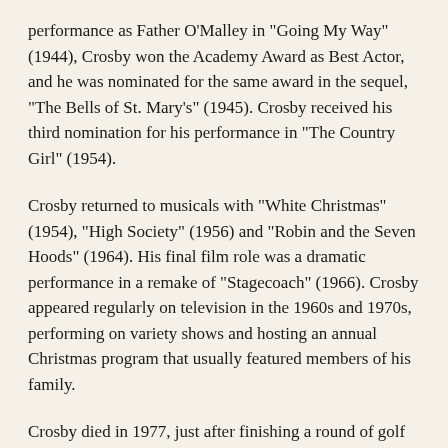performance as Father O'Malley in "Going My Way" (1944), Crosby won the Academy Award as Best Actor, and he was nominated for the same award in the sequel, "The Bells of St. Mary's" (1945). Crosby received his third nomination for his performance in "The Country Girl" (1954).
Crosby returned to musicals with "White Christmas" (1954), "High Society" (1956) and "Robin and the Seven Hoods" (1964). His final film role was a dramatic performance in a remake of "Stagecoach" (1966). Crosby appeared regularly on television in the 1960s and 1970s, performing on variety shows and hosting an annual Christmas program that usually featured members of his family.
Crosby died in 1977, just after finishing a round of golf in Madrid, Spain.
Despite his laid-back image, Crosby was a savvy businessman. When he died, Crosby was reportedly one of the wealthiest entertainers in Hollywood, with an estate estimated at up to $400 million.